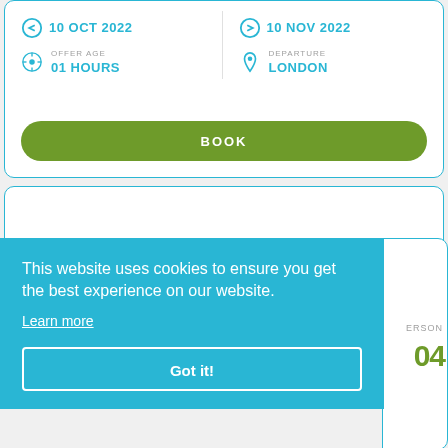10 OCT 2022
10 NOV 2022
OFFER AGE
01 HOURS
DEPARTURE
LONDON
BOOK
This website uses cookies to ensure you get the best experience on our website.
Learn more
Got it!
ERSON
04